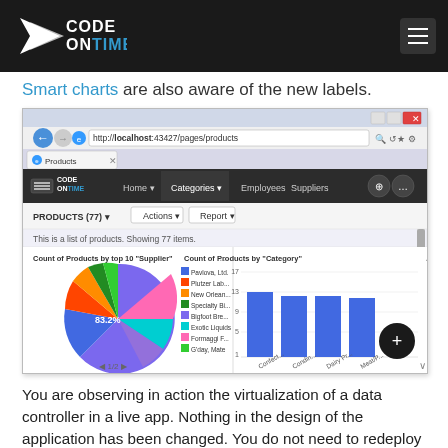Code On Time
Smart charts are also aware of the new labels.
[Figure (screenshot): Screenshot of Code On Time application showing Products page with two charts: a pie chart titled 'Count of Products by top 10 "Supplier"' showing 83.2% as the largest slice with legend items (Pavlova Ltd., Plutzer Lab., New Orlean..., Specialty Bl..., Bigfoot Bre..., Exotic Liquids, Formaggi F..., G'day Mate), and a bar chart titled 'Count of Products by "Category"' showing bars for different categories (Confect..., Condin..., Dairy Pr..., Meat/P...) with y-axis values up to 17. The browser shows localhost:43427/pages/products.]
You are observing in action the virtualization of a data controller in a live app. Nothing in the design of the application has been changed. You do not need to redeploy this application. The scope of changes may be